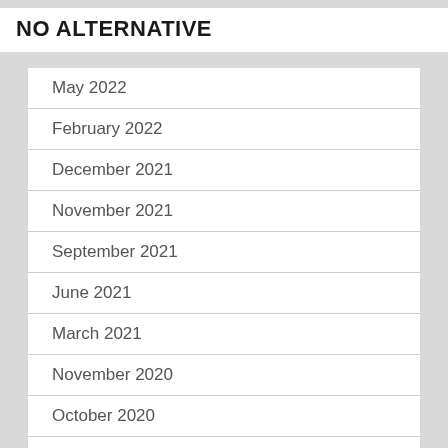NO ALTERNATIVE
May 2022
February 2022
December 2021
November 2021
September 2021
June 2021
March 2021
November 2020
October 2020
September 2020